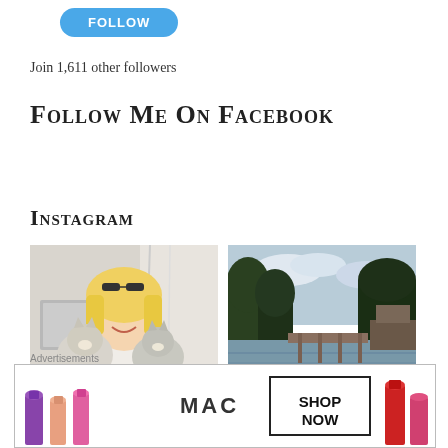[Figure (other): Blue rounded FOLLOW button]
Join 1,611 other followers
Follow Me On Facebook
Instagram
[Figure (photo): Woman with blonde hair holding two Siamese/Ragdoll cats, smiling, indoors]
[Figure (photo): Waterway scene with dock, trees, and cloudy sky]
Advertisements
[Figure (photo): MAC cosmetics advertisement showing lipsticks with text SHOP NOW]